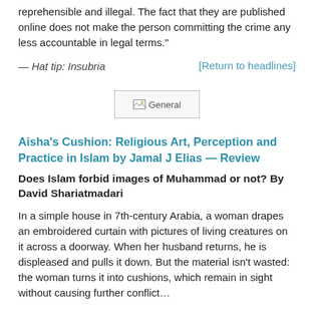reprehensible and illegal. The fact that they are published online does not make the person committing the crime any less accountable in legal terms."
— Hat tip: Insubria
[Return to headlines]
[Figure (other): General image placeholder with broken image icon and text 'General']
Aisha's Cushion: Religious Art, Perception and Practice in Islam by Jamal J Elias — Review
Does Islam forbid images of Muhammad or not? By David Shariatmadari
In a simple house in 7th-century Arabia, a woman drapes an embroidered curtain with pictures of living creatures on it across a doorway. When her husband returns, he is displeased and pulls it down. But the material isn't wasted: the woman turns it into cushions, which remain in sight without causing further conflict…